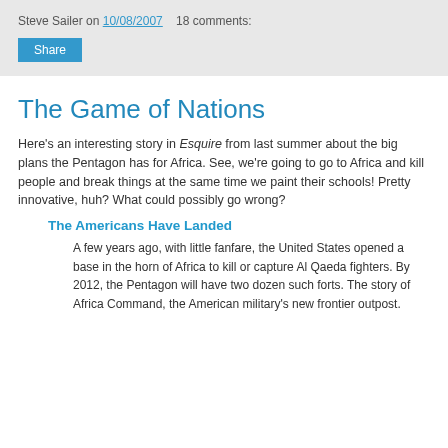Steve Sailer on 10/08/2007    18 comments:
The Game of Nations
Here's an interesting story in Esquire from last summer about the big plans the Pentagon has for Africa. See, we're going to go to Africa and kill people and break things at the same time we paint their schools! Pretty innovative, huh? What could possibly go wrong?
The Americans Have Landed
A few years ago, with little fanfare, the United States opened a base in the horn of Africa to kill or capture Al Qaeda fighters. By 2012, the Pentagon will have two dozen such forts. The story of Africa Command, the American military's new frontier outpost.